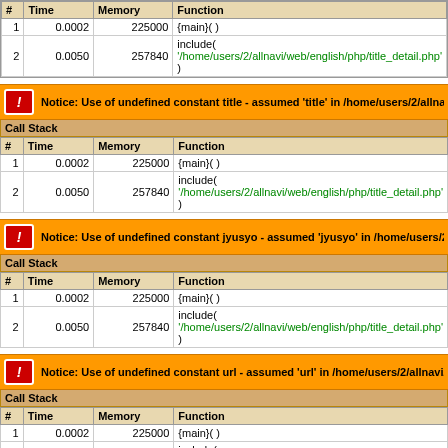| # | Time | Memory | Function |
| --- | --- | --- | --- |
| 1 | 0.0002 | 225000 | {main}( ) |
| 2 | 0.0050 | 257840 | include( '/home/users/2/allnavi/web/english/php/title_detail.php' ) |
Notice: Use of undefined constant title - assumed 'title' in /home/users/2/allnavi/web/e
Call Stack
| # | Time | Memory | Function |
| --- | --- | --- | --- |
| 1 | 0.0002 | 225000 | {main}( ) |
| 2 | 0.0050 | 257840 | include( '/home/users/2/allnavi/web/english/php/title_detail.php' ) |
Notice: Use of undefined constant jyusyo - assumed 'jyusyo' in /home/users/2/allnavi
Call Stack
| # | Time | Memory | Function |
| --- | --- | --- | --- |
| 1 | 0.0002 | 225000 | {main}( ) |
| 2 | 0.0050 | 257840 | include( '/home/users/2/allnavi/web/english/php/title_detail.php' ) |
Notice: Use of undefined constant url - assumed 'url' in /home/users/2/allnavi/web/eng
Call Stack
| # | Time | Memory | Function |
| --- | --- | --- | --- |
| 1 | 0.0002 | 225000 | {main}( ) |
| 2 | 0.0050 | 257840 | include( '/home/users/2/allnavi/web/english/php/title_detail.php' ) |
Notice: Use of undefined constant shikutyo - assumed 'shikutyo' in /home/users/2/all
Call Stack
| # | Time | Memory | Function |
| --- | --- | --- | --- |